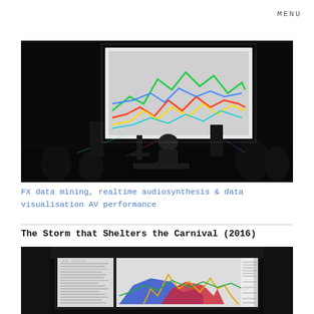MENU
[Figure (photo): Dark performance venue with a person leaning over equipment in front of a large illuminated screen displaying colorful data visualisation lines and patterns. Audience visible in background.]
FX data mining, realtime audiosynthesis & data visualisation AV performance
The Storm that Shelters the Carnival (2016)
[Figure (photo): Dark room with a large screen showing a data visualisation with colourful shapes including blue, red and yellow areas, with surrounding interface panels.]